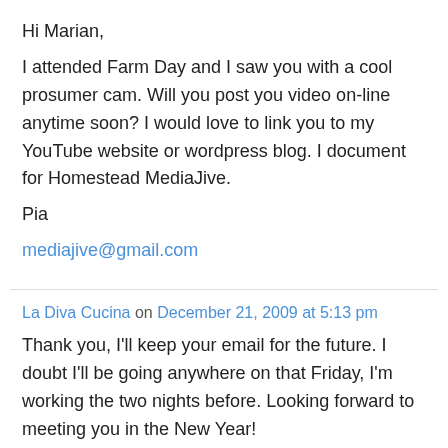Hi Marian,
I attended Farm Day and I saw you with a cool prosumer cam. Will you post you video on-line anytime soon? I would love to link you to my YouTube website or wordpress blog. I document for Homestead MediaJive.
Pia
mediajive@gmail.com
La Diva Cucina on December 21, 2009 at 5:13 pm
Thank you, I'll keep your email for the future. I doubt I'll be going anywhere on that Friday, I'm working the two nights before. Looking forward to meeting you in the New Year!